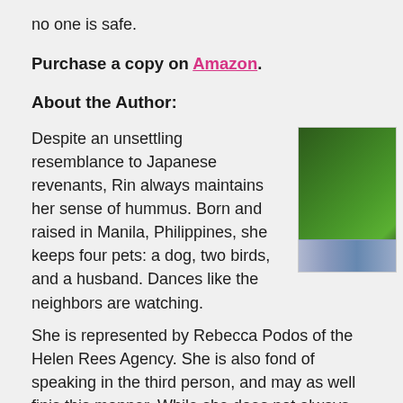no one is safe.
Purchase a copy on Amazon.
About the Author:
Despite an unsettling resemblance to Japanese revenants, Rin always maintains her sense of hummus. Born and raised in Manila, Philippines, she keeps four pets: a dog, two birds, and a husband. Dances like the neighbors are watching.
[Figure (photo): Author photo showing a person outdoors with green foliage background, wearing a blue patterned top, partially cropped.]
She is represented by Rebecca Podos of the Helen Rees Agency. She is also fond of speaking in the third person, and may as well finish this manner. While she does not always get to check page, she does answer questions posed to her here she is able to. Find her at the following places instea